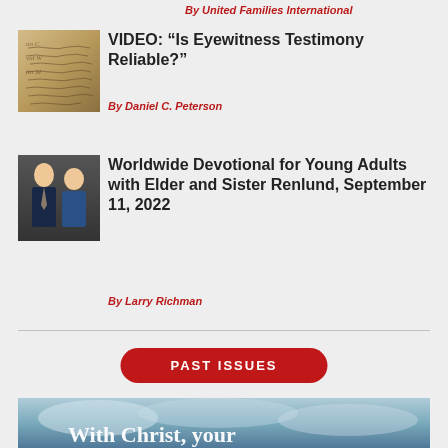By United Families International
[Figure (photo): Handwritten historical document or manuscript]
VIDEO: “Is Eyewitness Testimony Reliable?”
By Daniel C. Peterson
[Figure (photo): Portrait photo of Elder and Sister Renlund, a man and woman couple]
Worldwide Devotional for Young Adults with Elder and Sister Renlund, September 11, 2022
By Larry Richman
PAST ISSUES
[Figure (photo): Sky/clouds image with partial text reading 'With Christ, your']